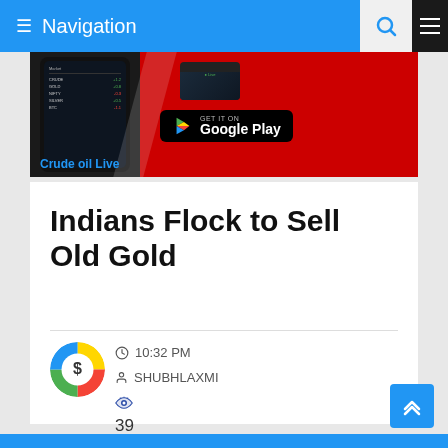Navigation
[Figure (screenshot): App advertisement banner showing Crude oil Live app with Google Play Store download button]
Indians Flock to Sell Old Gold
10:32 PM
SHUBHLAXMI
39 VIEWS